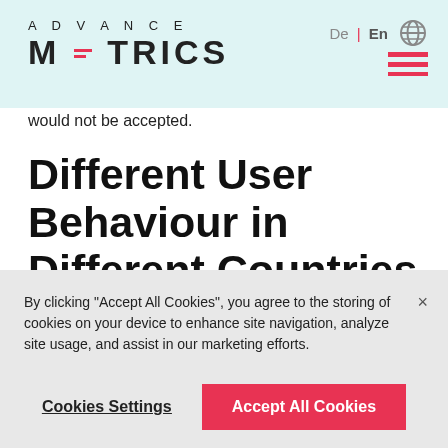ADVANCE METRICS — De | En — navigation header
would not be accepted.
Different User Behaviour in Different Countries
By clicking “Accept All Cookies”, you agree to the storing of cookies on your device to enhance site navigation, analyze site usage, and assist in our marketing efforts.
Cookies Settings    Accept All Cookies